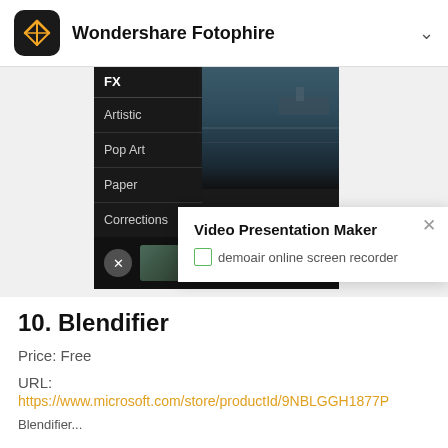Wondershare Fotophire
[Figure (screenshot): Screenshot of Wondershare Fotophire app showing FX filter panel with options: FX, Artistic, Pop Art, Paper, Corrections. Harbor/water scene visible in editing area. A popup overlay titled 'Video Presentation Maker' with 'demoair online screen recorder' text and icon. X close button visible.]
10. Blendifier
Price: Free
URL:
https://www.microsoft.com/store/productId/9NBLGGH1877P
Blendifier...